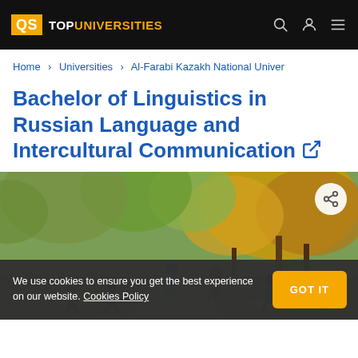QS TOPUNIVERSITIES
Home › Universities › Al-Farabi Kazakh National Univer
Bachelor of Linguistics in Russian Language and Intercultural Communication
[Figure (photo): Students walking on a campus path surrounded by autumn trees with orange and yellow foliage]
We use cookies to ensure you get the best experience on our website. Cookies Policy